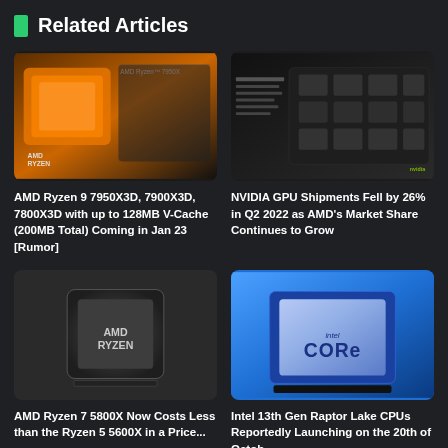Related Articles
[Figure (photo): AMD Ryzen 7950X CPU chip on a motherboard with orange accents and text 'AMD Ryzen 7950X']
AMD Ryzen 9 7950X3D, 7900X3D, 7800X3D with up to 128MB V-Cache (200MB Total) Coming in Jan 23 [Rumor]
[Figure (photo): NVIDIA GPU lineup presentation slide showing multiple GPU cards on a dark background]
NVIDIA GPU Shipments Fell by 26% in Q2 2022 as AMD's Market Share Continues to Grow
[Figure (photo): AMD Ryzen CPU chip on gray background with AMD Ryzen branding]
AMD Ryzen 7 5800X Now Costs Less than the Ryzen 5 5600X in a Price...
[Figure (photo): Intel Core processor chip on blue background with 'intel CORE' branding]
Intel 13th Gen Raptor Lake CPUs Reportedly Launching on the 20th of Octob...